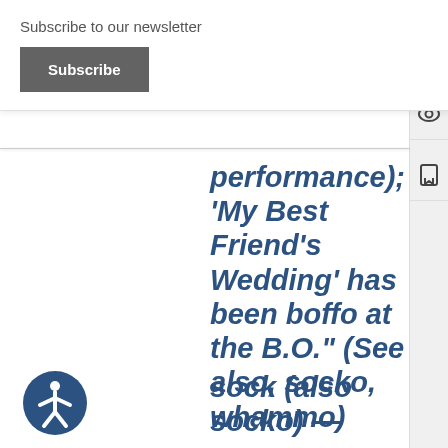Subscribe to our newsletter
Subscribe
performance); ‘My Best Friend’s Wedding’ has been boffo at the B.O.” (See also, socko, whammo)
sock (also socko) — very